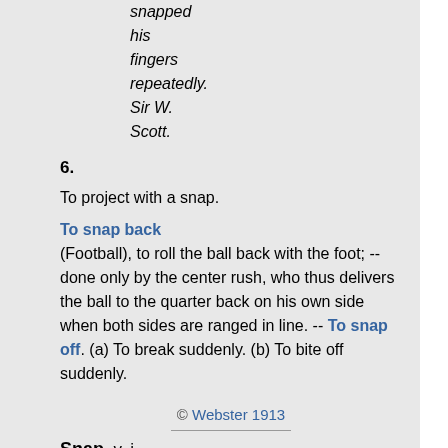snapped his fingers repeatedly. Sir W. Scott.
6.
To project with a snap.
To snap back (Football), to roll the ball back with the foot; -- done only by the center rush, who thus delivers the ball to the quarter back on his own side when both sides are ranged in line. -- To snap off. (a) To break suddenly. (b) To bite off suddenly.
© Webster 1913
Snap, v. i.